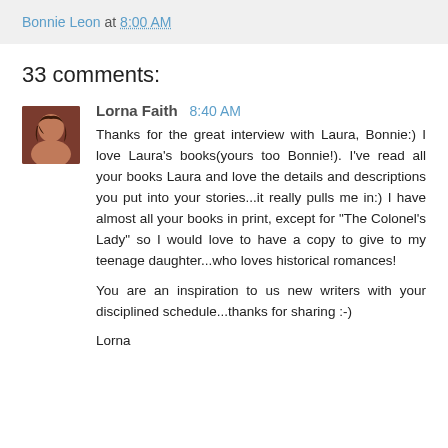Bonnie Leon at 8:00 AM
33 comments:
Lorna Faith 8:40 AM
Thanks for the great interview with Laura, Bonnie:) I love Laura's books(yours too Bonnie!). I've read all your books Laura and love the details and descriptions you put into your stories...it really pulls me in:) I have almost all your books in print, except for "The Colonel's Lady" so I would love to have a copy to give to my teenage daughter...who loves historical romances!

You are an inspiration to us new writers with your disciplined schedule...thanks for sharing :-)

Lorna